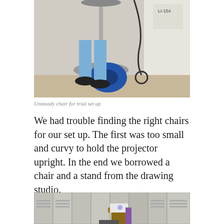[Figure (photo): Person standing near an unsteady bar stool/chair with a blue hose reel on the floor and a locker labeled LI-154 in the background]
Unsteady chair for trial set up
We had trouble finding the right chairs for our set up. The first was too small and curvy to hold the projector upright. In the end we borrowed a chair and a stand from the drawing studio.
[Figure (photo): A row of grey metal lockers with a small wooden stool holding a projector and a laptop on the floor in front of the lockers]